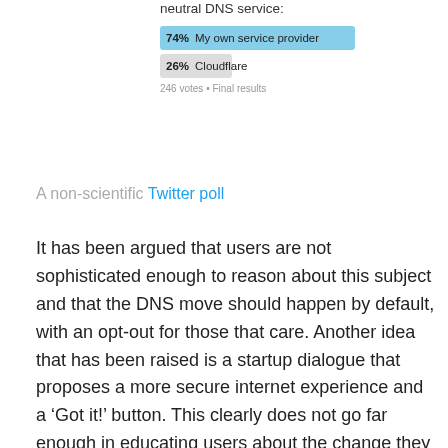[Figure (bar-chart): neutral DNS service:]
246 votes • Final results
A non-scientific Twitter poll
It has been argued that users are not sophisticated enough to reason about this subject and that the DNS move should happen by default, with an opt-out for those that care. Another idea that has been raised is a startup dialogue that proposes a more secure internet experience and a ‘Got it!’ button. This clearly does not go far enough in educating users about the change they will be authorizing.
Before moving DNS to a third party, users should be surveyed if they feel their current provider is spying on them or not, and if they think the new third party